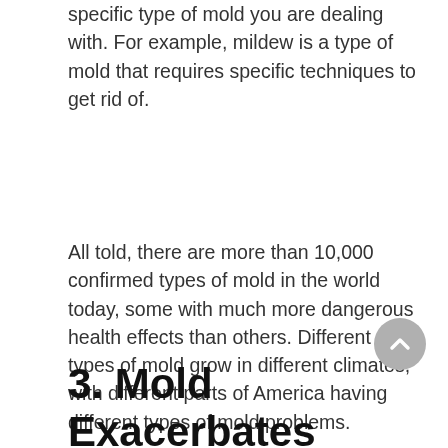specific type of mold you are dealing with. For example, mildew is a type of mold that requires specific techniques to get rid of.
All told, there are more than 10,000 confirmed types of mold in the world today, some with much more dangerous health effects than others. Different types of mold grow in different climates, with different parts of America having different types of mold problems.
3. Mold Exacerbates Health Problems